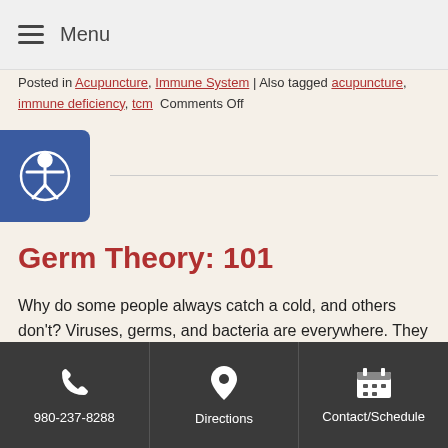≡ Menu
Posted in Acupuncture, Immune System | Also tagged acupuncture, immune deficiency, tcm Comments Off
Germ Theory: 101
Why do some people always catch a cold, and others don't? Viruses, germs, and bacteria are everywhere. They are in the food we eat, the air we breathe and the water we drink, but not all of them are bad or harmful.
Think of the immune system as your body's security detail. The cells, tissues, and
980-237-8288 | Directions | Contact/Schedule